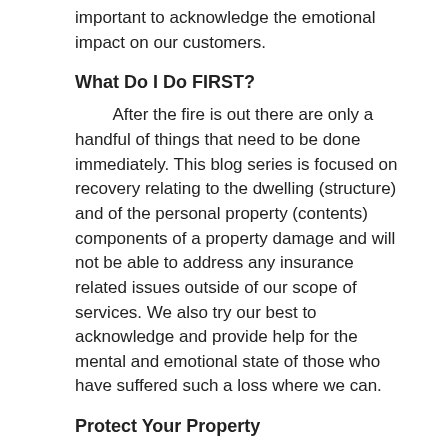important to acknowledge the emotional impact on our customers.
What Do I Do FIRST?
After the fire is out there are only a handful of things that need to be done immediately. This blog series is focused on recovery relating to the dwelling (structure) and of the personal property (contents) components of a property damage and will not be able to address any insurance related issues outside of our scope of services. We also try our best to acknowledge and provide help for the mental and emotional state of those who have suffered such a loss where we can.
Protect Your Property
One of the first things that needs to be done regarding the property is to have it secured or “boarded up” from any damage to windows, doors and other openings either from the fire or the fire fighting efforts. BEWARE: This step can happen as soon as the fire department is wrapping up their equipment and many times a line of contractors that has been listening to police/fire scanners is already waiting at the end of your driveway by the time you let us on the